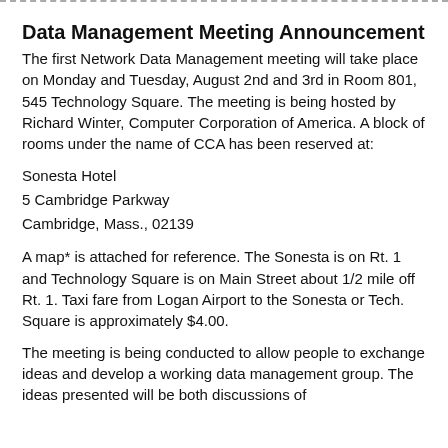Data Management Meeting Announcement
The first Network Data Management meeting will take place on Monday and Tuesday, August 2nd and 3rd in Room 801, 545 Technology Square. The meeting is being hosted by Richard Winter, Computer Corporation of America. A block of rooms under the name of CCA has been reserved at:
Sonesta Hotel
5 Cambridge Parkway
Cambridge, Mass., 02139
A map* is attached for reference. The Sonesta is on Rt. 1 and Technology Square is on Main Street about 1/2 mile off Rt. 1. Taxi fare from Logan Airport to the Sonesta or Tech. Square is approximately $4.00.
The meeting is being conducted to allow people to exchange ideas and develop a working data management group. The ideas presented will be both discussions of